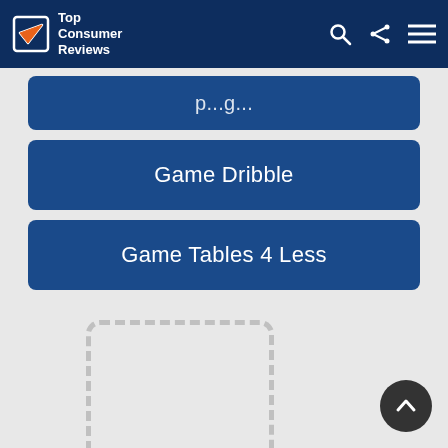Top Consumer Reviews — navigation bar with logo, search, share, and menu icons
(partially visible button)
Game Dribble
Game Tables 4 Less
[Figure (screenshot): Two dashed-border rectangular placeholder boxes on a light grey background, with a dark circular scroll-to-top arrow button in the bottom right corner]